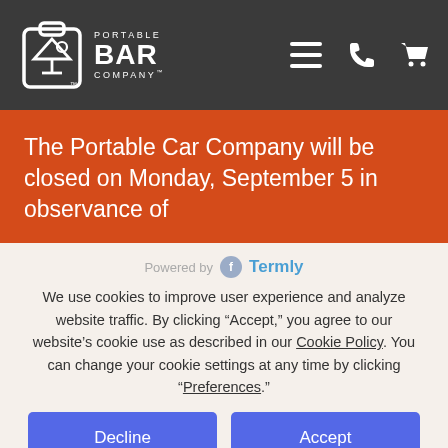[Figure (logo): Portable Bar Company logo with martini glass clipboard icon on dark gray navigation header with hamburger menu, phone, and cart icons]
The Portable Car Company will be closed on Monday, September 5 in observance of
Powered by Termly
We use cookies to improve user experience and analyze website traffic. By clicking “Accept,” you agree to our website’s cookie use as described in our Cookie Policy. You can change your cookie settings at any time by clicking “Preferences.”
Decline
Accept
Preferences